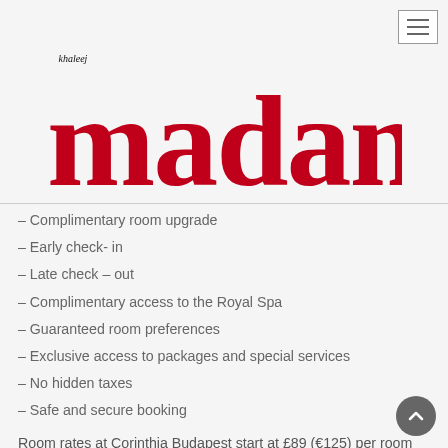[Figure (logo): Khaleej Madame logo in red serif script font with 'khaleej' in small italic text above]
– Complimentary room upgrade
– Early check- in
– Late check – out
– Complimentary access to the Royal Spa
– Guaranteed room preferences
– Exclusive access to packages and special services
– No hidden taxes
– Safe and secure booking
Room rates at Corinthia Budapest start at £89 (€125) per room per night and benefits